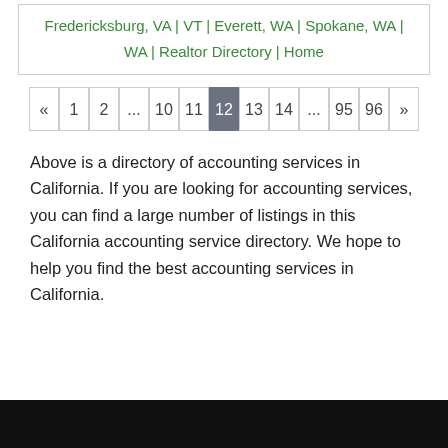Fredericksburg, VA | VT | Everett, WA | Spokane, WA | WA | Realtor Directory | Home
« 1 2 ... 10 11 12 13 14 ... 95 96 »
Above is a directory of accounting services in California. If you are looking for accounting services, you can find a large number of listings in this California accounting service directory. We hope to help you find the best accounting services in California.